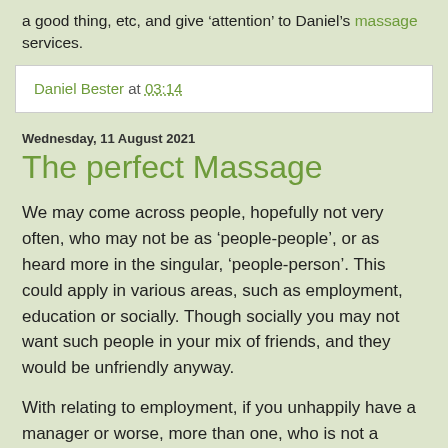a good thing, etc, and give 'attention' to Daniel's massage services.
Daniel Bester at 03:14
Wednesday, 11 August 2021
The perfect Massage
We may come across people, hopefully not very often, who may not be as 'people-people', or as heard more in the singular, 'people-person'. This could apply in various areas, such as employment, education or socially. Though socially you may not want such people in your mix of friends, and they would be unfriendly anyway.
With relating to employment, if you unhappily have a manager or worse, more than one, who is not a 'people-person', there can be a tendency that employees are treated as things or objects, and hardly as human beings. If